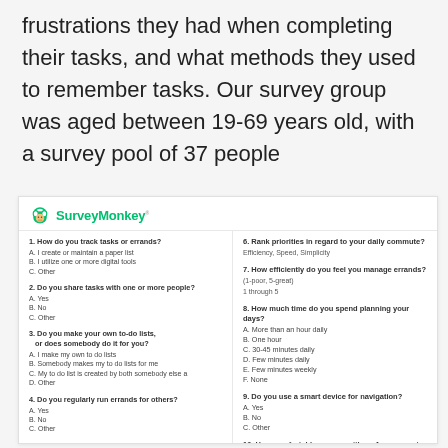frustrations they had when completing their tasks, and what methods they used to remember tasks. Our survey group was aged between 19-69 years old, with a survey pool of 37 people
[Figure (screenshot): SurveyMonkey survey screenshot showing 10 survey questions in two columns. Left column: questions 1-5 about tracking tasks, sharing tasks, making to-do lists, running errands for others, running errands as part of daily commute. Right column: questions 6-10 about ranking daily commute priorities, managing errands efficiency, time spent planning days, smart device for navigation, comfort with App accessing personal info.]